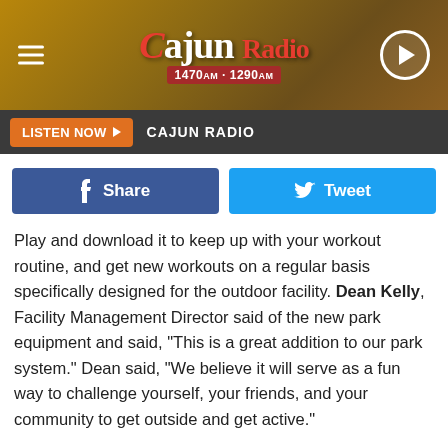[Figure (logo): Cajun Radio logo with 1470AM and 1290AM frequencies on a dark golden/wood background with hamburger menu and play button]
LISTEN NOW ▶   CAJUN RADIO
[Figure (infographic): Facebook Share button (blue) and Twitter Tweet button (light blue) side by side]
Play and download it to keep up with your workout routine, and get new workouts on a regular basis specifically designed for the outdoor facility. Dean Kelly, Facility Management Director said of the new park equipment and said, “This is a great addition to our park system.” Dean said, “We believe it will serve as a fun way to challenge yourself, your friends, and your community to get outside and get active.”
Police Jury Vice President, Anthony Bartie said “On behalf of the Calcasieu Parish Police Jury, I’m excited to open this new